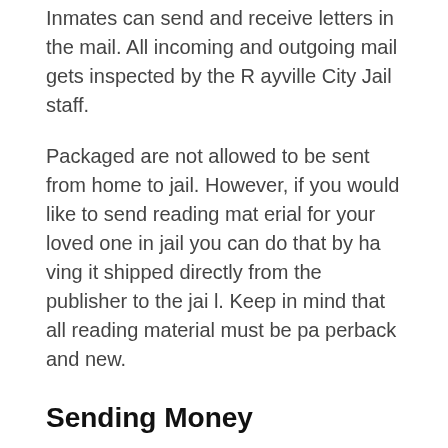Inmates can send and receive letters in the mail. All incoming and outgoing mail gets inspected by the Rayville City Jail staff.
Packaged are not allowed to be sent from home to jail. However, if you would like to send reading material for your loved one in jail you can do that by having it shipped directly from the publisher to the jail. Keep in mind that all reading material must be paperback and new.
Sending Money
Most jails accept MoneyGram, Western Union and cashiers checks to fund an inmate's account. There is also a kiosk located in the jail lobby where you can fund an inmate's account.
In...